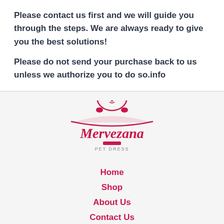Please contact us first and we will guide you through the steps. We are always ready to give you the best solutions!
Please do not send your purchase back to us unless we authorize you to do so.info
[Figure (logo): Mervezana Pet Dress logo with a cartoon cat face above the brand name in red/pink cursive font]
Home
Shop
About Us
Contact Us